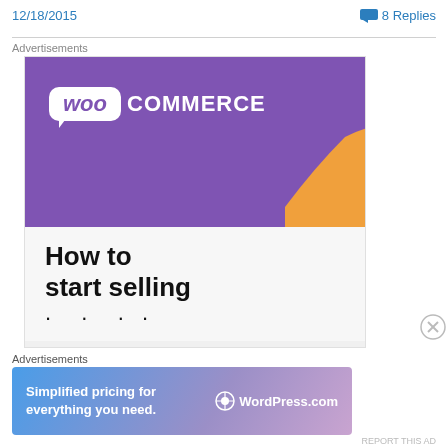12/18/2015    💬 8 Replies
Advertisements
[Figure (screenshot): WooCommerce advertisement banner showing purple background with WooCommerce logo and text 'How to start selling' with orange decorative shape and partial text below]
Advertisements
[Figure (screenshot): WordPress.com advertisement banner with gradient background, text 'Simplified pricing for everything you need.' and WordPress.com logo]